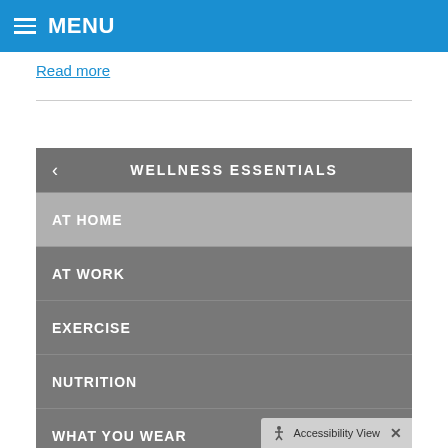≡ MENU
Read more
< WELLNESS ESSENTIALS
AT HOME
AT WORK
EXERCISE
NUTRITION
WHAT YOU WEAR
Accessibility View  ×